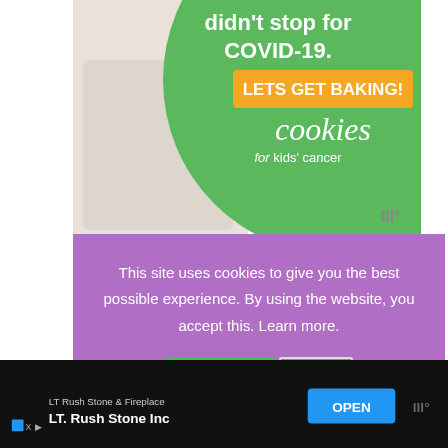[Figure (screenshot): Advertisement banner for 'cookies for kids cancer' with green circle, orange button saying LETS GET BAKING!, showing hands holding money, green background with text 'didn't stop for COVID-19.']
This site uses cookies to give you the best possible experience. By using the website, you accept this. Learn more.
Accept
X
W
Babies don't get a say in the decor of their nursery or the baby clothes they wear.
[Figure (screenshot): Bottom advertisement bar with dark background showing 'LT Rush Stone & Fireplace' and 'LT. Rush Stone Inc' with blue OPEN button]